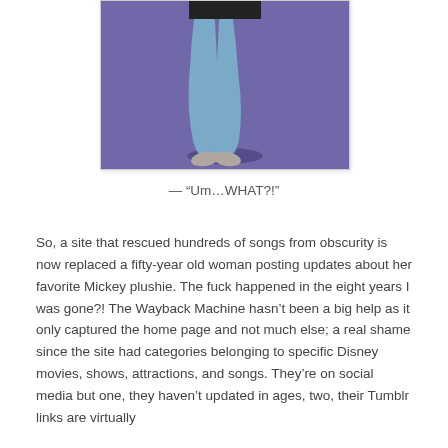[Figure (illustration): Cropped cartoon illustration showing the lower body/legs of an animated character (Disney style) wearing blue pants/leggings and small grey feet, against a purple/blue background.]
— "Um…WHAT?!"
So, a site that rescued hundreds of songs from obscurity is now replaced a fifty-year old woman posting updates about her favorite Mickey plushie. The fuck happened in the eight years I was gone?! The Wayback Machine hasn't been a big help as it only captured the home page and not much else; a real shame since the site had categories belonging to specific Disney movies, shows, attractions, and songs. They're on social media but one, they haven't updated in ages, two, their Tumblr links are virtually